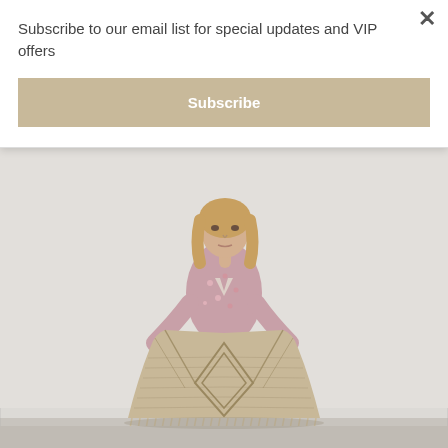Subscribe to our email list for special updates and VIP offers
Subscribe
[Figure (photo): Woman holding up a large beige/tan woven rug in front of a white background, wearing a floral pink top and jeans. The rug has a geometric diamond pattern.]